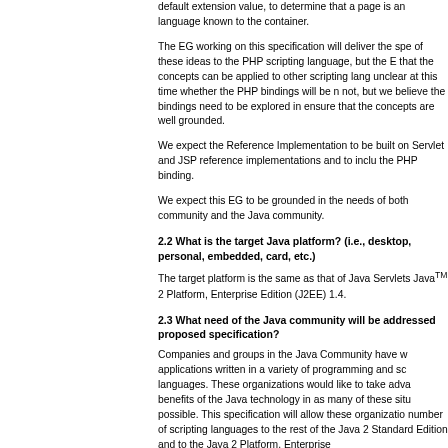default extension value, to determine that a page is an language known to the container.
The EG working on this specification will deliver the spe of these ideas to the PHP scripting language, but the E that the concepts can be applied to other scripting lang unclear at this time whether the PHP bindings will be n not, but we believe the bindings need to be explored in ensure that the concepts are well grounded.
We expect the Reference Implementation to be built on Servlet and JSP reference implementations and to inclu the PHP binding.
We expect this EG to be grounded in the needs of both community and the Java community.
2.2 What is the target Java platform? (i.e., desktop, personal, embedded, card, etc.)
The target platform is the same as that of Java Servlets Java™ 2 Platform, Enterprise Edition (J2EE) 1.4.
2.3 What need of the Java community will be addressed proposed specification?
Companies and groups in the Java Community have w applications written in a variety of programming and sc languages. These organizations would like to take adva benefits of the Java technology in as many of these situ possible. This specification will allow these organizatio number of scripting languages to the rest of the Java 2 Standard Edition and to the Java 2 Platform, Enterprise
2.4 Why isn't this need met by existing specification